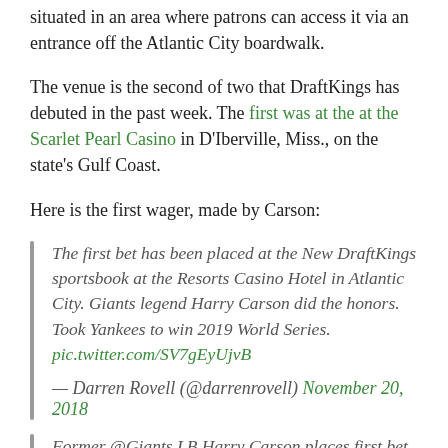situated in an area where patrons can access it via an entrance off the Atlantic City boardwalk.
The venue is the second of two that DraftKings has debuted in the past week. The first was at the at the Scarlet Pearl Casino in D'Iberville, Miss., on the state's Gulf Coast.
Here is the first wager, made by Carson:
The first bet has been placed at the New DraftKings sportsbook at the Resorts Casino Hotel in Atlantic City. Giants legend Harry Carson did the honors. Took Yankees to win 2019 World Series. pic.twitter.com/SV7gEyUjvB — Darren Rovell (@darrenrovell) November 20, 2018
Former @Giants LB Harry Carson places first bet at new @DKSportsbook at @ResortsCasino on @Yankees to win 2019 World Series.